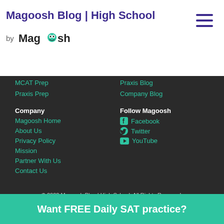Magoosh Blog | High School
MCAT Prep
Praxis Prep
Praxis Blog
Company Blog
Company
Magoosh Home
About Us
Privacy Policy
Mission
Partner With Us
Contact Us
Follow Magoosh
Facebook
Twitter
YouTube
© 2022 Magoosh Blog | High School. All Rights Reserved.
Want FREE Daily SAT practice?